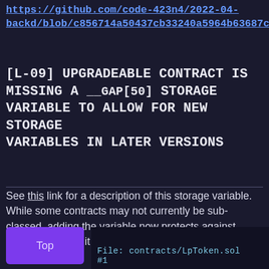https://github.com/code-423n4/2022-04-backd/blob/c856714a50437cb33240a5964b63687c987
[L-09] UPGRADEABLE CONTRACT IS MISSING A __GAP[50] STORAGE VARIABLE TO ALLOW FOR NEW STORAGE VARIABLES IN LATER VERSIONS
See this link for a description of this storage variable. While some contracts may not currently be sub-classed, adding the variable now protects against forgetting to add it in the future.
Top
File: contracts/LpToken.sol   #1